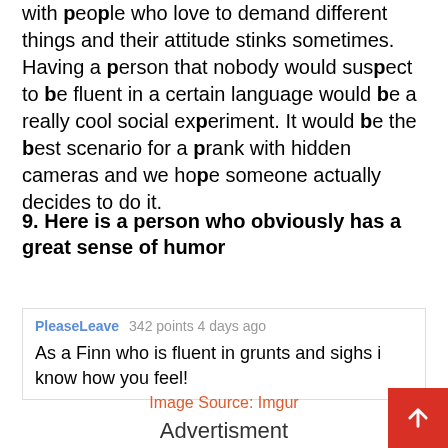with people who love to demand different things and their attitude stinks sometimes. Having a person that nobody would suspect to be fluent in a certain language would be a really cool social experiment. It would be the best scenario for a prank with hidden cameras and we hope someone actually decides to do it.
9. Here is a person who obviously has a great sense of humor
PleaseLeave   342 points 4 days ago
As a Finn who is fluent in grunts and sighs i know how you feel!
Image Source: Imgur
Advertisment